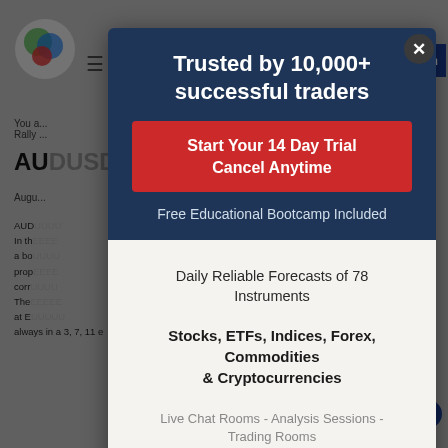[Figure (screenshot): Background dimmed webpage showing a financial trading website with logo, navigation, and article text about AUDUSD]
Trusted by 10,000+ successful traders
Start Your 14 Day Trial
Cancel Anytime
Free Educational Bootcamp Included
Daily Reliable Forecasts of 78 Instruments
Stocks, ETFs, Indices, Forex, Commodities & Cryptocurrencies
Live Chat Rooms - Analysis Sessions - Trading Rooms
Powered by Convert Plus